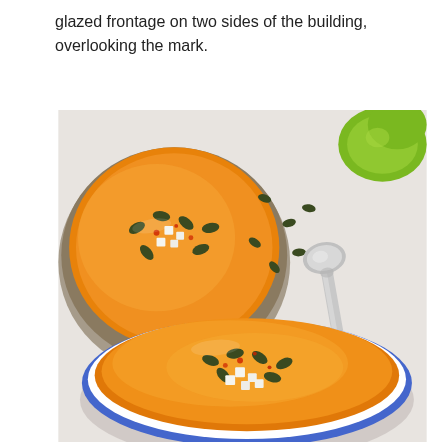glazed frontage on two sides of the building, overlooking the mark.
[Figure (photo): Overhead food photography showing two bowls of orange/golden soup (pumpkin or butternut squash bisque) topped with white cheese cubes, pumpkin seeds, and red pepper flakes. A decorative silver spoon rests to the right. Green limes/avocado slices are visible in the top right corner. Scattered pumpkin seeds lie on the light grey surface between the bowls.]